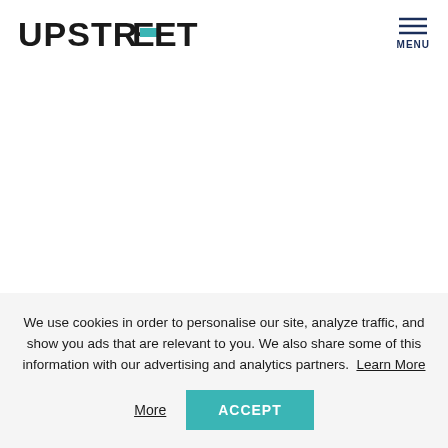UPSTREET  MENU
We use cookies in order to personalise our site, analyze traffic, and show you ads that are relevant to you. We also share some of this information with our advertising and analytics partners. Learn More
ACCEPT